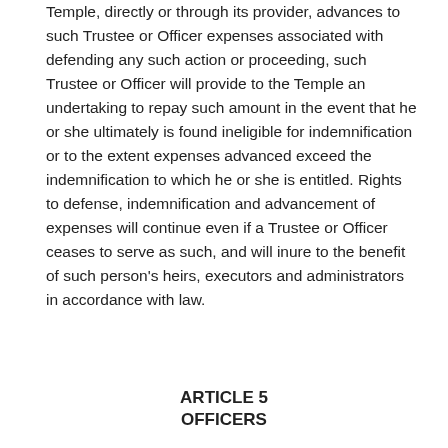Temple, directly or through its provider, advances to such Trustee or Officer expenses associated with defending any such action or proceeding, such Trustee or Officer will provide to the Temple an undertaking to repay such amount in the event that he or she ultimately is found ineligible for indemnification or to the extent expenses advanced exceed the indemnification to which he or she is entitled. Rights to defense, indemnification and advancement of expenses will continue even if a Trustee or Officer ceases to serve as such, and will inure to the benefit of such person's heirs, executors and administrators in accordance with law.
ARTICLE 5
OFFICERS